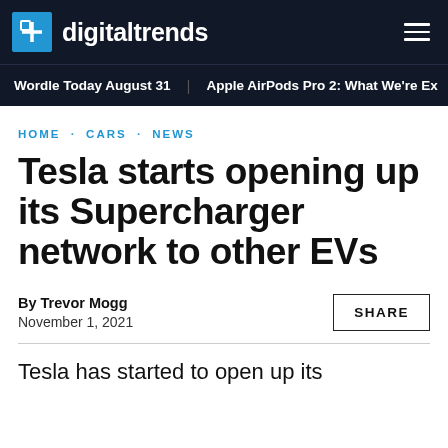digitaltrends
Wordle Today August 31   Apple AirPods Pro 2: What We're Ex
HOME · CARS · NEWS
Tesla starts opening up its Supercharger network to other EVs
By Trevor Mogg
November 1, 2021
Tesla has started to open up its